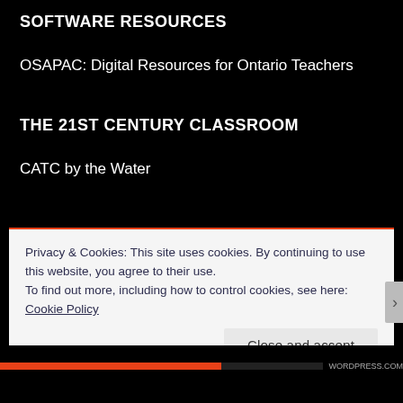SOFTWARE RESOURCES
OSAPAC: Digital Resources for Ontario Teachers
THE 21ST CENTURY CLASSROOM
CATC by the Water
META
Privacy & Cookies: This site uses cookies. By continuing to use this website, you agree to their use.
To find out more, including how to control cookies, see here: Cookie Policy
Close and accept